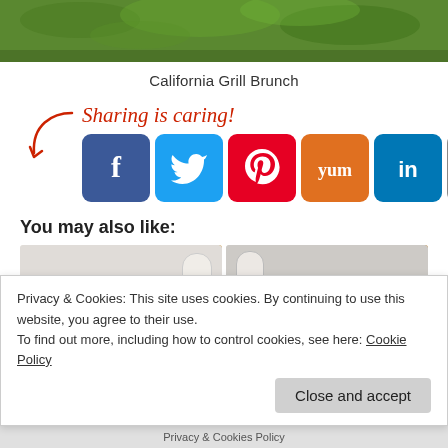[Figure (photo): Top cropped photo showing green grass/garden background]
California Grill Brunch
[Figure (infographic): Sharing is caring! social share buttons: Facebook, Twitter, Pinterest, Yummly, LinkedIn, Email, Other]
You may also like:
[Figure (photo): Two food/drink preview images side by side showing cookies and coffee cups]
Privacy & Cookies: This site uses cookies. By continuing to use this website, you agree to their use.
To find out more, including how to control cookies, see here: Cookie Policy
Close and accept
Privacy & Cookies Policy